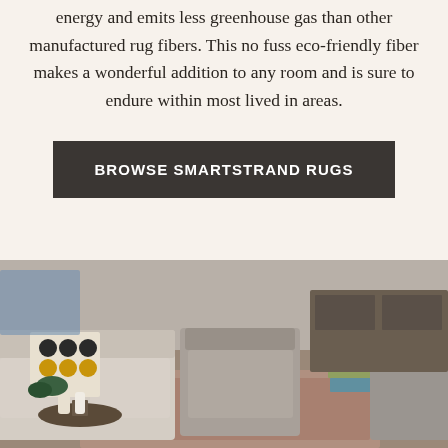energy and emits less greenhouse gas than other manufactured rug fibers. This no fuss eco-friendly fiber makes a wonderful addition to any room and is sure to endure within most lived in areas.
BROWSE SMARTSTRAND RUGS
[Figure (photo): Living room scene with beige sofas and chairs, decorative pillow with circle pattern, small side table with vases and plant, stack of books, large area rug, and a dark vase on the floor.]